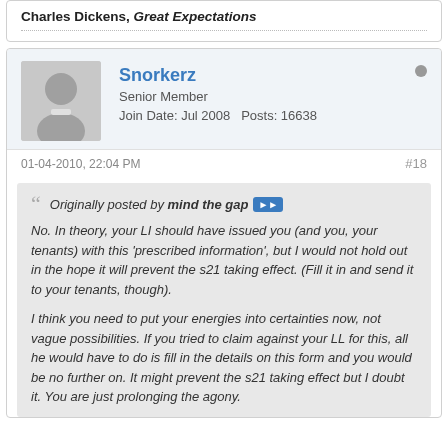Charles Dickens, Great Expectations
Snorkerz
Senior Member
Join Date: Jul 2008   Posts: 16638
01-04-2010, 22:04 PM
#18
Originally posted by mind the gap
No. In theory, your LI should have issued you (and you, your tenants) with this 'prescribed information', but I would not hold out in the hope it will prevent the s21 taking effect. (Fill it in and send it to your tenants, though).

I think you need to put your energies into certainties now, not vague possibilities. If you tried to claim against your LL for this, all he would have to do is fill in the details on this form and you would be no further on. It might prevent the s21 taking effect but I doubt it. You are just prolonging the agony.